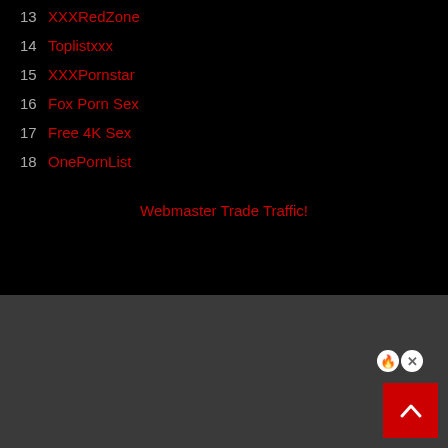13 XXXRedZone
14 Toplistxxx
15 XXXPornstar
16 Fox Porn Sex
17 Free 4K Sex
18 OnePornList
Webmaster Trade Traffic!
[Figure (other): Two small circular icon buttons (info and close/X) in the bottom gray section]
[Figure (other): Red back-to-top button with upward chevron arrow in bottom right corner]